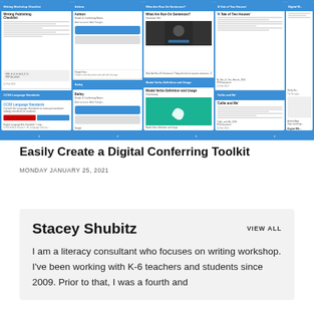[Figure (screenshot): Screenshot of a digital conferring toolkit interface showing multiple cards in a grid layout with blue background, including items like 'Writing Workshop Checklist', 'CCSS Language Standards', 'Ashton', 'Bailey', 'What Are Run-On Sentences?', 'Modal Verbs-Definition and Usage', 'A Tale of Two Houses', 'Callie and Me', and navigation arrows at the bottom.]
Easily Create a Digital Conferring Toolkit
MONDAY JANUARY 25, 2021
Stacey Shubitz
VIEW ALL
I am a literacy consultant who focuses on writing workshop. I've been working with K-6 teachers and students since 2009. Prior to that, I was a fourth and